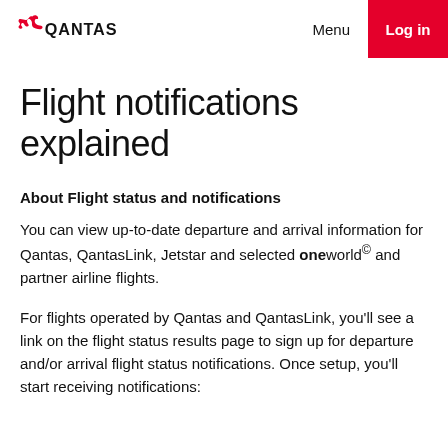Qantas | Menu | Log in
Flight notifications explained
About Flight status and notifications
You can view up-to-date departure and arrival information for Qantas, QantasLink, Jetstar and selected oneworld© and partner airline flights.
For flights operated by Qantas and QantasLink, you'll see a link on the flight status results page to sign up for departure and/or arrival flight status notifications. Once setup, you'll start receiving notifications: